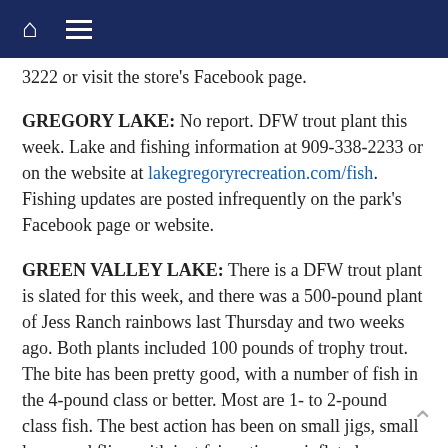Navigation bar with home and menu icons
3222 or visit the store's Facebook page.
GREGORY LAKE: No report. DFW trout plant this week. Lake and fishing information at 909-338-2233 or on the website at lakegregoryrecreation.com/fish. Fishing updates are posted infrequently on the park's Facebook page or website.
GREEN VALLEY LAKE: There is a DFW trout plant is slated for this week, and there was a 500-pound plant of Jess Ranch rainbows last Thursday and two weeks ago. Both plants included 100 pounds of trophy trout. The bite has been pretty good, with a number of fish in the 4-pound class or better. Most are 1- to 2-pound class fish. The best action has been on small jigs, small lures, and flies, with just fair action on inflated nightcrawler and PowerBait. The website is